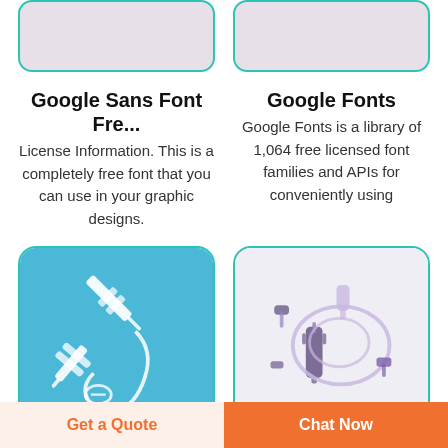[Figure (photo): Partial view of a rounded rectangle card image placeholder with teal border, pinkish-lavender background]
[Figure (photo): Partial view of a rounded rectangle card image placeholder with teal border, pinkish-lavender background]
Google Sans Font Fre...
License Information. This is a completely free font that you can use in your graphic designs.
Google Fonts
Google Fonts is a library of 1,064 free licensed font families and APIs for conveniently using
[Figure (photo): Medical catheter/needle device on blue background]
[Figure (photo): IV infusion set with tubing, syringe and connectors on light lavender background]
How can I get "Googl...
Product Sans FontRe...
Get a Quote
Chat Now